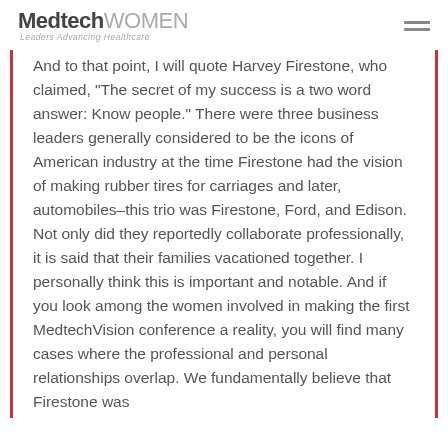MedtechWOMEN — Leaders Advancing Healthcare
And to that point, I will quote Harvey Firestone, who claimed, “The secret of my success is a two word answer: Know people.” There were three business leaders generally considered to be the icons of American industry at the time Firestone had the vision of making rubber tires for carriages and later, automobiles–this trio was Firestone, Ford, and Edison. Not only did they reportedly collaborate professionally, it is said that their families vacationed together. I personally think this is important and notable. And if you look among the women involved in making the first MedtechVision conference a reality, you will find many cases where the professional and personal relationships overlap. We fundamentally believe that Firestone was